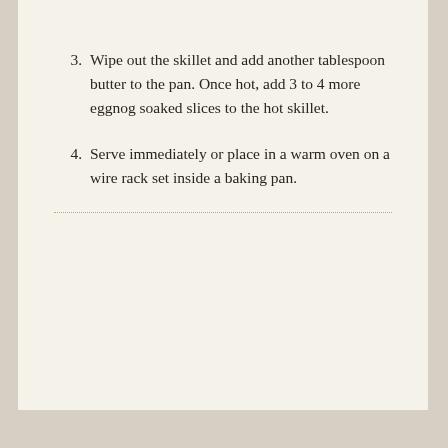3. Wipe out the skillet and add another tablespoon butter to the pan. Once hot, add 3 to 4 more eggnog soaked slices to the hot skillet.
4. Serve immediately or place in a warm oven on a wire rack set inside a baking pan.